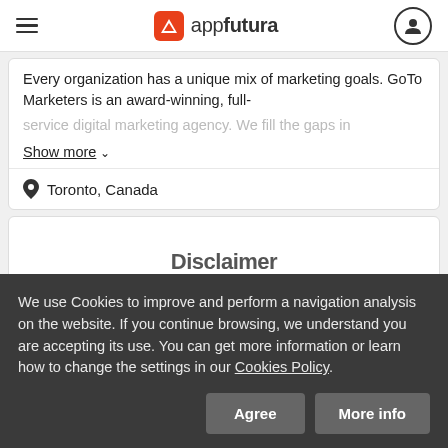appfutura
Every organization has a unique mix of marketing goals. GoTo Marketers is an award-winning, full-service digital marketing agency. We fill the gaps in
Show more
Toronto, Canada
Disclaimer
We use Cookies to improve and perform a navigation analysis on the website. If you continue browsing, we understand you are accepting its use. You can get more information or learn how to change the settings in our Cookies Policy.
Agree
More info